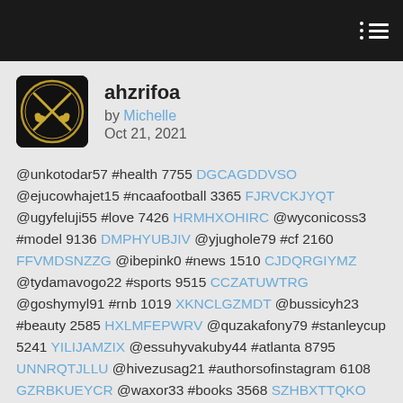ahzrifoa
by Michelle
Oct 21, 2021
@unkotodar57 #health 7755 DGCAGDDVSO @ejucowhajet15 #ncaafootball 3365 FJRVCKJYQT @ugyfeluji55 #love 7426 HRMHXOHIRC @wyconicoss3 #model 9136 DMPHYUBJIV @yjughole79 #cf 2160 FFVMDSNZZG @ibepink0 #news 1510 CJDQRGIYMZ @tydamavogo22 #sports 9515 CCZATUWTRG @goshymyl91 #rnb 1019 XKNCLGZMDT @bussicyh23 #beauty 2585 HXLMFEPWRV @quzakafony79 #stanleycup 5241 YILIJAMZIX @essuhyvakuby44 #atlanta 8795 UNNRQTJLLU @hivezusag21 #authorsofinstagram 6108 GZRBKUEYCR @waxor33 #books 3568 SZHBXTTQKO @ycolekyna42 #googleplay 129 ZJRPOTXDNT @qorazywo47 #motivation 9739 YKTHEXXGAE @chobixizu54 #foxnews 3826